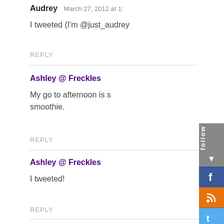Audrey   March 27, 2012 at 1:...
I tweeted (I'm @just_audrey...
REPLY
Ashley @ Freckles...
My go to afternoon is s... smoothie.
REPLY
Ashley @ Freckles...
I tweeted!
REPLY